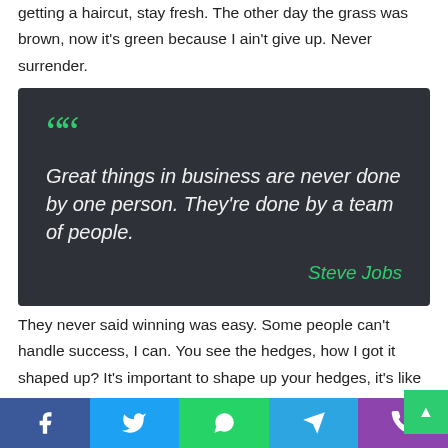getting a haircut, stay fresh. The other day the grass was brown, now it's green because I ain't give up. Never surrender.
[Figure (infographic): Dark grey quote box with green quotation marks, white italic quote text reading 'Great things in business are never done by one person. They're done by a team of people.' and green italic attribution 'Steve Jobs']
They never said winning was easy. Some people can't handle success, I can. You see the hedges, how I got it shaped up? It's important to shape up your hedges, it's like getting a
Facebook | Twitter | WhatsApp | Telegram | Phone (social share bar)